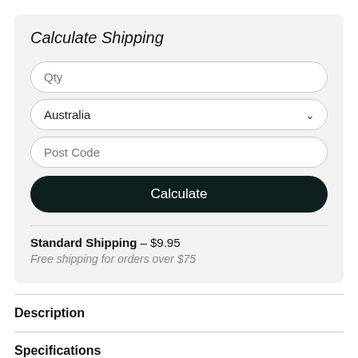Calculate Shipping
Qty (input field)
Australia (dropdown)
Post Code (input field)
Calculate (button)
Standard Shipping - $9.95
Free shipping for orders over $75
Description
Specifications
Reviews